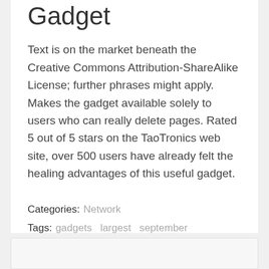Gadget
Text is on the market beneath the Creative Commons Attribution-ShareAlike License; further phrases might apply. Makes the gadget available solely to users who can really delete pages. Rated 5 out of 5 stars on the TaoTronics web site, over 500 users have already felt the healing advantages of this useful gadget.
Categories: Network
Tags: gadgets  largest  september
Previous post    Next post